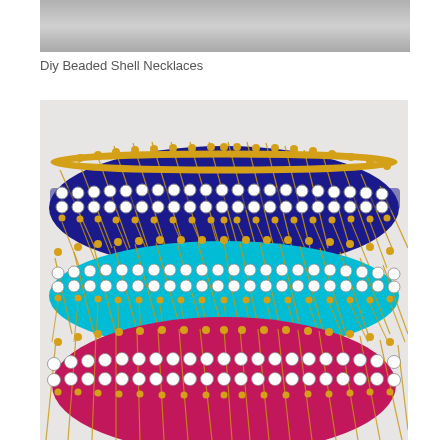[Figure (photo): Partial top portion of a photo, showing a gray background area at the top]
Diy Beaded Shell Necklaces
[Figure (photo): Three stacked decorative silk thread bangles adorned with gold beads and rhinestone crystal embellishments. Top bangle is royal blue with gold thread and two rows of crystals, middle bangle is turquoise/cyan with gold thread and crystals, bottom bangle is magenta/fuchsia pink with gold thread and crystals. All bangles feature diagonal gold thread lines radiating outward.]